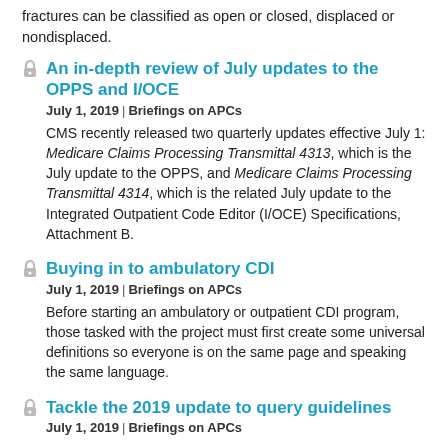fractures can be classified as open or closed, displaced or nondisplaced.
An in-depth review of July updates to the OPPS and I/OCE
July 1, 2019 | Briefings on APCs
CMS recently released two quarterly updates effective July 1: Medicare Claims Processing Transmittal 4313, which is the July update to the OPPS, and Medicare Claims Processing Transmittal 4314, which is the related July update to the Integrated Outpatient Code Editor (I/OCE) Specifications, Attachment B.
Buying in to ambulatory CDI
July 1, 2019 | Briefings on APCs
Before starting an ambulatory or outpatient CDI program, those tasked with the project must first create some universal definitions so everyone is on the same page and speaking the same language.
Tackle the 2019 update to query guidelines
July 1, 2019 | Briefings on APCs